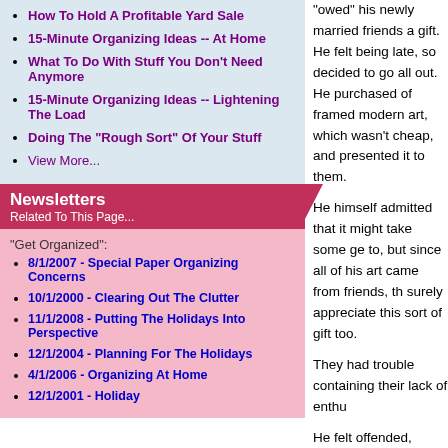How To Hold A Profitable Yard Sale
15-Minute Organizing Ideas -- At Home
What To Do With Stuff You Don't Need Anymore
15-Minute Organizing Ideas -- Lightening The Load
Doing The "Rough Sort" Of Your Stuff
View More...
Newsletters
Related To This Page...
"Get Organized":
8/1/2007 - Special Paper Organizing Concerns
10/1/2000 - Clearing Out The Clutter
11/1/2008 - Putting The Holidays Into Perspective
12/1/2004 - Planning For The Holidays
4/1/2006 - Organizing At Home
12/1/2001 - Holiday
"owed" his newly married friends a gift. He felt being late, so decided to go all out. He purchased of framed modern art, which wasn't cheap, and presented it to them.
He himself admitted that it might take some getting to, but since all of his art came from friends, they should surely appreciate this sort of gift too.
They had trouble containing their lack of enthusiasm.
He felt offended, confused and hurt. What went wrong?
It may be the thought that counts, but how do you give with meaning?
Giving needn't be costly. We can avoid spending "just because we have to get something". I try to keep an ongoing list of gift ideas. If someone I care about mentions something they'd love to have sometime during the year, I try to run and make note before it slips my mind.
Think about what people need and don't need. As an organizer I see many "Cosmetic Graveyards". They are the cupboards full of a myriad of lotions, tiny soaps, makeup, hair products, and free samples. The only way a family will ever use these up, is if they don't buy or acquire a single toiletry for several years. They would then be subjected to all kinds of s...